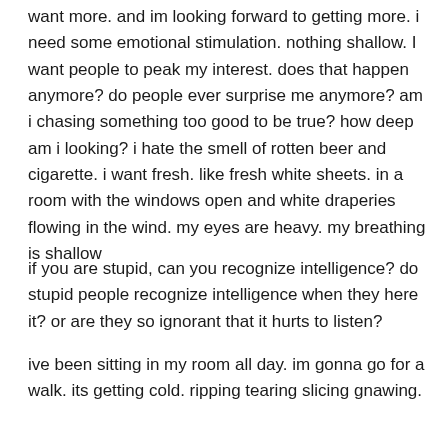want more. and im looking forward to getting more. i need some emotional stimulation. nothing shallow. I want people to peak my interest. does that happen anymore? do people ever surprise me anymore? am i chasing something too good to be true? how deep am i looking? i hate the smell of rotten beer and cigarette. i want fresh. like fresh white sheets. in a room with the windows open and white draperies flowing in the wind. my eyes are heavy. my breathing is shallow
if you are stupid, can you recognize intelligence? do stupid people recognize intelligence when they here it? or are they so ignorant that it hurts to listen?
ive been sitting in my room all day. im gonna go for a walk. its getting cold. ripping tearing slicing gnawing.